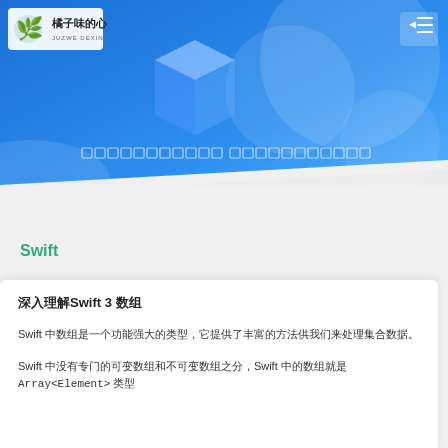[Figure (illustration): Blue gradient banner with 3D cube shape, decorative circles, and a row of small outlined squares as subtitle placeholder text. Logo in top left reads '橘子味的心 / JUZWE DEXIN' with green leaf icon. Menu icon in top right corner.]
Swift
深入理解Swift 3 数组
Swift 中数组是一个功能强大的类型，它提供了丰富的方法供我们来处理集合数据。
Swift 中没有专门的可变数组和不可变数组之分，Swift 中的数组就是 Array<Element> 类型